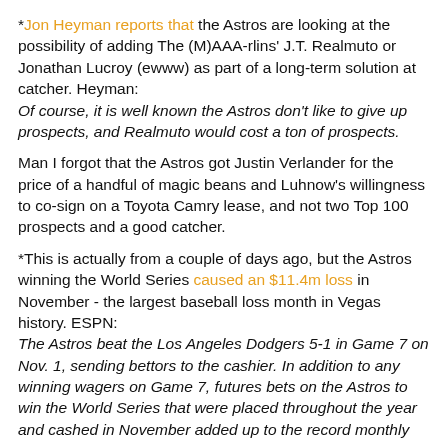*Jon Heyman reports that the Astros are looking at the possibility of adding The (M)AAA-rlins' J.T. Realmuto or Jonathan Lucroy (ewww) as part of a long-term solution at catcher. Heyman: Of course, it is well known the Astros don't like to give up prospects, and Realmuto would cost a ton of prospects.
Man I forgot that the Astros got Justin Verlander for the price of a handful of magic beans and Luhnow's willingness to co-sign on a Toyota Camry lease, and not two Top 100 prospects and a good catcher.
*This is actually from a couple of days ago, but the Astros winning the World Series caused an $11.4m loss in November - the largest baseball loss month in Vegas history. ESPN: The Astros beat the Los Angeles Dodgers 5-1 in Game 7 on Nov. 1, sending bettors to the cashier. In addition to any winning wagers on Game 7, futures bets on the Astros to win the World Series that were placed throughout the year and cashed in November added up to the record monthly